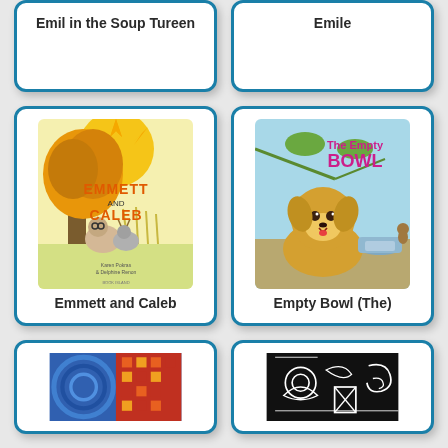[Figure (illustration): Partial book card for Emil in the Soup Tureen]
Emil in the Soup Tureen
[Figure (illustration): Partial book card for Emile]
Emile
[Figure (illustration): Book cover: Emmett and Caleb - shows a sloth and deer sitting under a tree in autumn]
Emmett and Caleb
[Figure (illustration): Book cover: The Empty Bowl - shows a golden puppy looking at an empty bowl]
Empty Bowl (The)
[Figure (illustration): Partial book card showing colorful abstract art with blues and reds]
[Figure (illustration): Partial book card showing black and white abstract art]